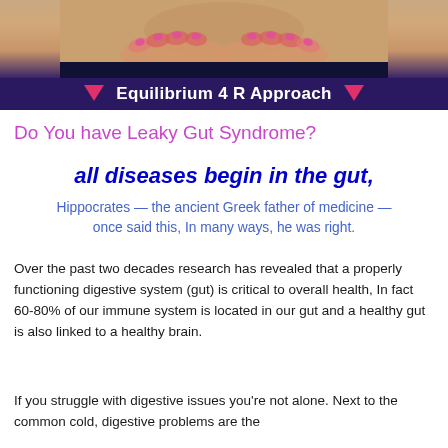[Figure (photo): Photo of a woman's midsection with hands clasped over stomach, above a dark purple banner reading 'Equilibrium 4 R Approach' with pink downward triangles on either side]
Do You have Leaky Gut Syndrome?
all diseases begin in the gut,
Hippocrates — the ancient Greek father of medicine — once said this, In many ways, he was right.
Over the past two decades research has revealed that a properly functioning digestive system (gut) is critical to overall health, In fact 60-80% of our immune system is located in our gut and a healthy gut is also linked to a healthy brain.
If you struggle with digestive issues you're not alone. Next to the common cold, digestive problems are the